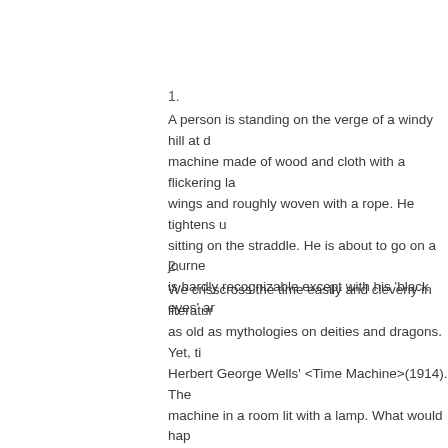1.
A person is standing on the verge of a windy hill at d machine made of wood and cloth with a flickering la wings and roughly woven with a rope. He tightens u sitting on the straddle. He is about to go on a journe is hardly recognizable except with his 'black eyes' ar
2.
We crisscross the time easily and cleverly in literatur as old as mythologies on deities and dragons. Yet, ti Herbert George Wells' <Time Machine>(1914). The machine in a room lit with a lamp. What would hap New York Times critic described the time machine o of a non-power-driven airplane.